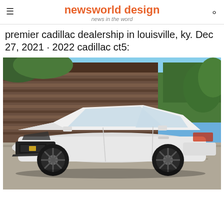newsworld design — news in the word
premier cadillac dealership in louisville, ky. Dec 27, 2021 · 2022 cadillac ct5:
[Figure (photo): White Cadillac CT5 sedan parked on a gravel lot in front of a rustic wooden building, photographed on a sunny day with blue sky and green trees in background.]